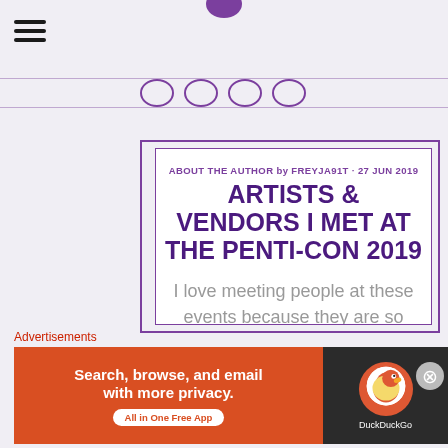ABOUT THE AUTHOR by FREYJA91T - 27 JUN 2019
ARTISTS & VENDORS I MET AT THE PENTI-CON 2019
I love meeting people at these events because they are so excited about what they have to share that it gets me excited TOO! I'm also pretty broke when I go
Advertisements
[Figure (screenshot): DuckDuckGo advertisement banner: 'Search, browse, and email with more privacy. All in One Free App' with DuckDuckGo logo on dark background.]